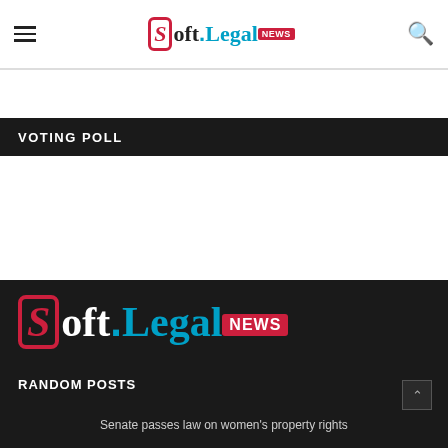Soft.Legal NEWS
VOTING POLL
[Figure (logo): Soft.Legal NEWS logo large version in footer dark background]
RANDOM POSTS
Senate passes law on women's property rights